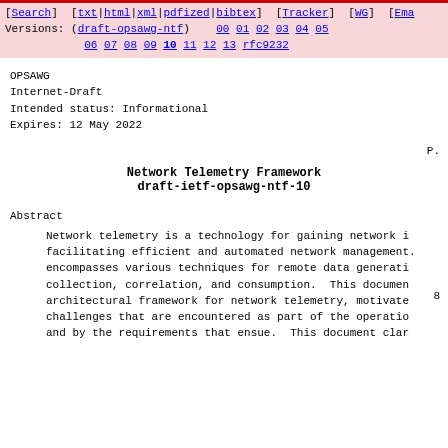[Search] [txt|html|xml|pdfized|bibtex] [Tracker] [WG] [Ema Versions: (draft-opsawg-ntf) 00 01 02 03 04 05 06 07 08 09 10 11 12 13 rfc9232
OPSAWG
Internet-Draft
Intended status: Informational
Expires: 12 May 2022
P.
8
Network Telemetry Framework
draft-ietf-opsawg-ntf-10
Abstract
Network telemetry is a technology for gaining network i facilitating efficient and automated network management. encompasses various techniques for remote data generati collection, correlation, and consumption. This documen architectural framework for network telemetry, motivate challenges that are encountered as part of the operatio and by the requirements that ensue. This document clar